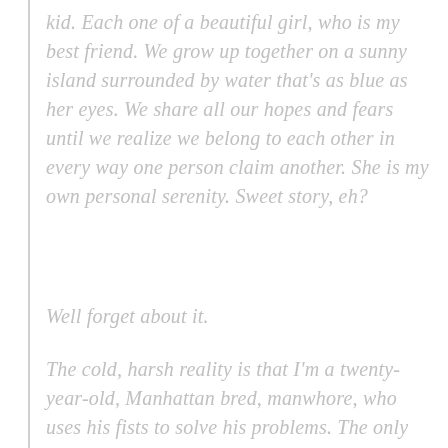kid. Each one of a beautiful girl, who is my best friend. We grow up together on a sunny island surrounded by water that's as blue as her eyes. We share all our hopes and fears until we realize we belong to each other in every way one person claim another. She is my own personal serenity. Sweet story, eh?
Well forget about it.
The cold, harsh reality is that I'm a twenty-year-old, Manhattan bred, manwhore, who uses his fists to solve his problems. The only comfort I find is inside a bottle... and the dreams. But the dreams are my illness not my